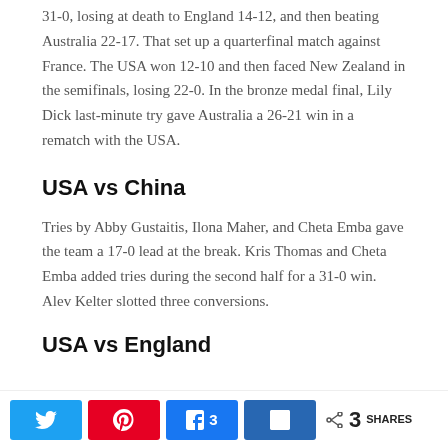31-0, losing at death to England 14-12, and then beating Australia 22-17. That set up a quarterfinal match against France. The USA won 12-10 and then faced New Zealand in the semifinals, losing 22-0. In the bronze medal final, Lily Dick last-minute try gave Australia a 26-21 win in a rematch with the USA.
USA vs China
Tries by Abby Gustaitis, Ilona Maher, and Cheta Emba gave the team a 17-0 lead at the break. Kris Thomas and Cheta Emba added tries during the second half for a 31-0 win. Alev Kelter slotted three conversions.
USA vs England
3 SHARES (Twitter, Pinterest, Facebook 3, LinkedIn)